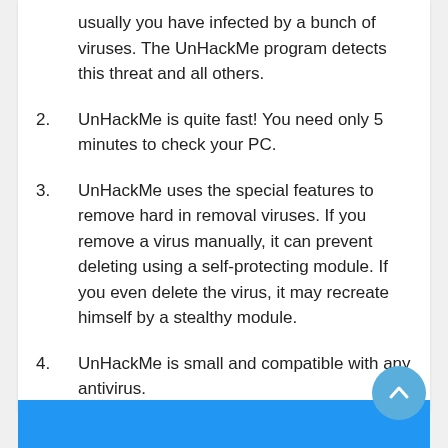usually you have infected by a bunch of viruses. The UnHackMe program detects this threat and all others.
2.  UnHackMe is quite fast! You need only 5 minutes to check your PC.
3.  UnHackMe uses the special features to remove hard in removal viruses. If you remove a virus manually, it can prevent deleting using a self-protecting module. If you even delete the virus, it may recreate himself by a stealthy module.
4.  UnHackMe is small and compatible with any antivirus.
5.  UnHackMe is fully free for 30-days!